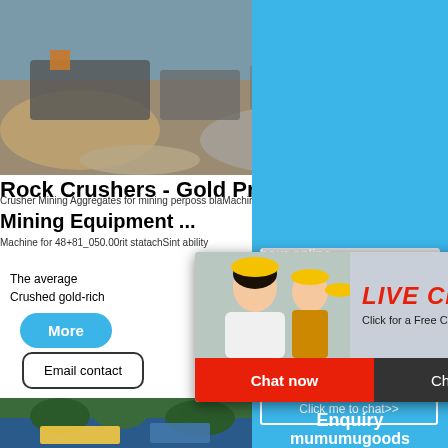[Figure (photo): Aerial view of a rock crushing/mining equipment site with machinery and rock piles]
Rock Crushers - Gold Prospecting Mining Equipment ...
Crusher Mining Aggregates for mining perposs blaMachine for 48+81_050.00rit statachSint ability
The average Crushed gold-rich
CrazyCrusher manual
Mini Rock or an
[Figure (infographic): Live Chat popup overlay with workers in yellow hard hats, Chat now and Chat later buttons]
[Figure (photo): Mining equipment and machinery in a field with trees in background]
[Figure (photo): Industrial jaw crusher machine shown in right sidebar]
hour online
Click me to chat>>
Enquiry
mumumugoods